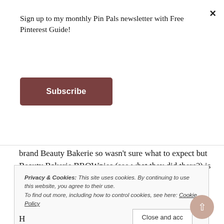Sign up to my monthly Pin Pals newsletter with Free Pinterest Guide!
Subscribe
brand Beauty Bakerie so wasn't sure what to expect but Beauty Bakerie BROWnies (see what they did there?) is rather wonderful. I have naturally dark brown hair but I have a reddish dye through it (which you can see in my advert for Garnier Olia here yes that is a bit of shameless self-promotion but YOLO) and their Auburn shade is
Privacy & Cookies: This site uses cookies. By continuing to use this website, you agree to their use.
To find out more, including how to control cookies, see here: Cookie Policy
Close and acc